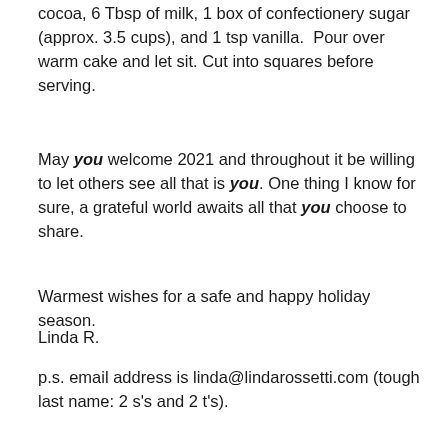cocoa, 6 Tbsp of milk, 1 box of confectionery sugar (approx. 3.5 cups), and 1 tsp vanilla.  Pour over warm cake and let sit. Cut into squares before serving.
May you welcome 2021 and throughout it be willing to let others see all that is you. One thing I know for sure, a grateful world awaits all that you choose to share.
Warmest wishes for a safe and happy holiday season.
Linda R.
p.s. email address is linda@lindarossetti.com (tough last name: 2 s's and 2 t's).